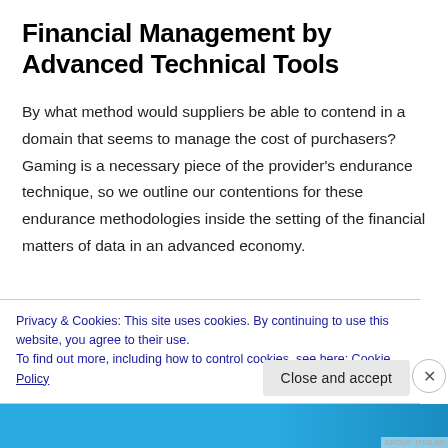Financial Management by Advanced Technical Tools
By what method would suppliers be able to contend in a domain that seems to manage the cost of purchasers? Gaming is a necessary piece of the provider’s endurance technique, so we outline our contentions for these endurance methodologies inside the setting of the financial matters of data in an advanced economy.
Privacy & Cookies: This site uses cookies. By continuing to use this website, you agree to their use.
To find out more, including how to control cookies, see here: Cookie Policy
Close and accept